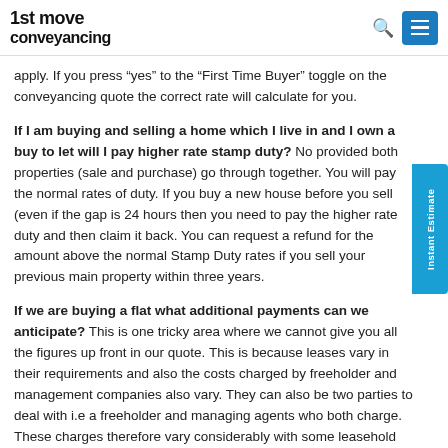1st move conveyancing
apply. If you press “yes” to the “First Time Buyer” toggle on the conveyancing quote the correct rate will calculate for you.
If I am buying and selling a home which I live in and I own a buy to let will I pay higher rate stamp duty? No provided both properties (sale and purchase) go through together. You will pay the normal rates of duty. If you buy a new house before you sell (even if the gap is 24 hours then you need to pay the higher rate duty and then claim it back. You can request a refund for the amount above the normal Stamp Duty rates if you sell your previous main property within three years.
If we are buying a flat what additional payments can we anticipate? This is one tricky area where we cannot give you all the figures up front in our quote. This is because leases vary in their requirements and also the costs charged by freeholder and management companies also vary. They can also be two parties to deal with i.e a freeholder and managing agents who both charge. These charges therefore vary considerably with some leasehold purchases the fees can be as low as £10 but in extreme cases the